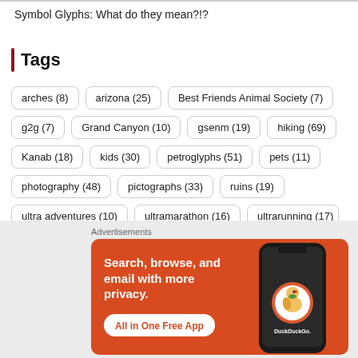Symbol Glyphs: What do they mean?!?
Tags
arches (8)
arizona (25)
Best Friends Animal Society (7)
g2g (7)
Grand Canyon (10)
gsenm (19)
hiking (69)
Kanab (18)
kids (30)
petroglyphs (51)
pets (11)
photography (48)
pictographs (33)
ruins (19)
ultra adventures (10)
ultramarathon (16)
ultrarunning (17)
Advertisements
[Figure (screenshot): DuckDuckGo advertisement banner with orange background. Text: 'Search, browse, and email with more privacy. All in One Free App'. Shows a phone with DuckDuckGo logo.]